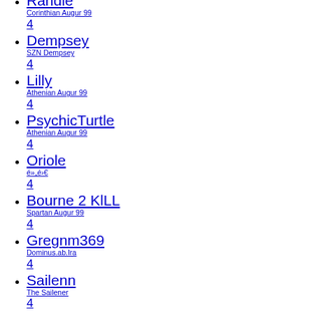Randle
Corinthian Augur 99
4
Dempsey
SZN Dempsey
4
Lilly
Athenian Augur 99
4
PsychicTurtle
Athenian Augur 99
4
Oriole
é»„é›€
4
Bourne 2 KlLL
Spartan Augur 99
4
Gregnm369
Dominus.ab.Ira
4
Sailenn
The Sailener
4
Mykil
Athenian Augur 99
4
Imwcrusher
PCD